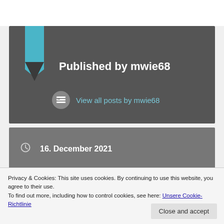Published by mwie68
View all posts by mwie68
16. December 2021
Allgemein, CD Reviews, News
CD Review, Iron Fate, Metal, News
Privacy & Cookies: This site uses cookies. By continuing to use this website, you agree to their use.
To find out more, including how to control cookies, see here: Unsere Cookie-Richtlinie
Close and accept